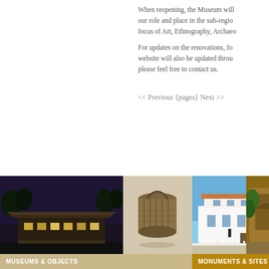When reopening, the Museum will our role and place in the sub-regio focus of Art, Ethnography, Archaeo
For updates on the renovations, fo website will also be updated throu please feel free to contact us.
<< Previous {pages} Next >>
[Figure (photo): Two photos side by side: left shows a museum building at dusk with lights on, right shows a large bronze/stone artifact resembling a barrel or drum with rope. Label bar reads MUSEUMS & OBJECTS.]
[Figure (photo): Two photos side by side: left shows a white colonial-era building (monument/fort) with blue sky, right shows tropical vegetation or a gateway. Label bar reads MONUMENTS & SITES.]